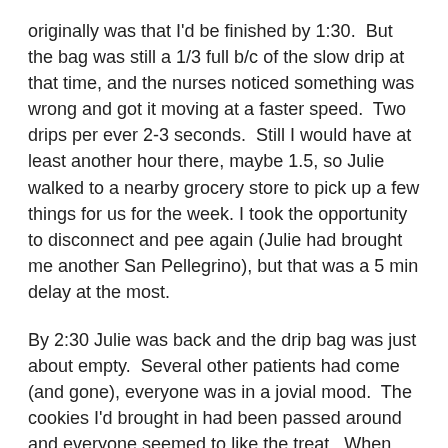originally was that I'd be finished by 1:30.  But the bag was still a 1/3 full b/c of the slow drip at that time, and the nurses noticed something was wrong and got it moving at a faster speed.  Two drips per ever 2-3 seconds.  Still I would have at least another hour there, maybe 1.5, so Julie walked to a nearby grocery store to pick up a few things for us for the week. I took the opportunity to disconnect and pee again (Julie had brought me another San Pellegrino), but that was a 5 min delay at the most.
By 2:30 Julie was back and the drip bag was just about empty.  Several other patients had come (and gone), everyone was in a jovial mood.  The cookies I'd brought in had been passed around and everyone seemed to like the treat.  When my bag finished, I had another 5 minute saline drip, and then was disconnected for good.  I had to give blood for testing, but the needle in my hand wasn't producing good quantities of blood so I had to get stuck in my forearm.  But after filling a test tube with blood I was disconnected and finished for good.
I went to the bathroom one last time, and when I came back I